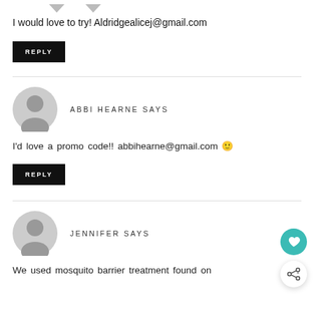I would love to try! Aldridgealicej@gmail.com
REPLY
ABBI HEARNE SAYS
I'd love a promo code!! abbihearne@gmail.com 🙂
REPLY
JENNIFER SAYS
We used mosquito barrier treatment found on